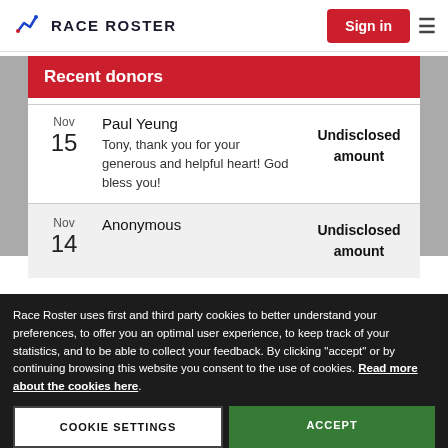RACE ROSTER | Sign in
Recent donors
Nov 15 | Paul Yeung | Tony, thank you for your generous and helpful heart! God bless you! | Undisclosed amount
Nov 14 | Anonymous | Undisclosed amount
Race Roster uses first and third party cookies to better understand your preferences, to offer you an optimal user experience, to keep track of your statistics, and to be able to collect your feedback. By clicking "accept" or by continuing browsing this website you consent to the use of cookies. Read more about the cookies here.
COOKIE SETTINGS | ACCEPT